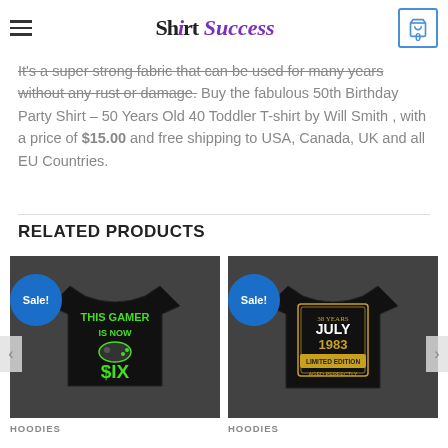Shirt Success
It's a super strong fabric that can be used for many years without any rust or damage. Buy the fabulous 50th Birthday Party Shirt – 50 Years Old 40 Toddler T-shirt by Will Smith , with a price of $15.00 and free shipping to USA, Canada, UK and all EU Countries.
RELATED PRODUCTS
[Figure (photo): Black t-shirt with 'This Gamer Is Now SIX' design in green text with game controller graphic, shown with Sale badge and HOODIES label below]
[Figure (photo): Black t-shirt with '38 Years July 1983 Limited Edition Aged Perfectly' design in gold/orange text with decorative border, shown with Sale badge and HOODIES label below]